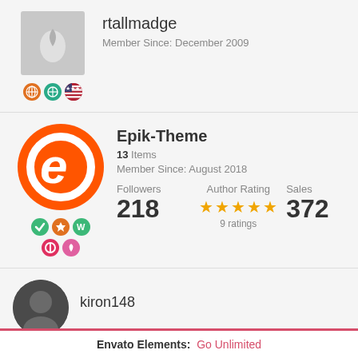[Figure (photo): User avatar placeholder with leaf/flame icon on grey background]
rtallmadge
Member Since: December 2009
[Figure (illustration): Badge icons: orange globe, badge, US flag]
[Figure (logo): Epik-Theme orange circular logo with stylized E]
Epik-Theme
13 Items
Member Since: August 2018
[Figure (illustration): Badge icons: green, orange, green, red, pink]
Followers
218
Author Rating
[Figure (illustration): 5 gold stars rating]
9 ratings
Sales
372
[Figure (photo): kiron148 user avatar partial, dark circular]
kiron148
Envato Elements: Go Unlimited